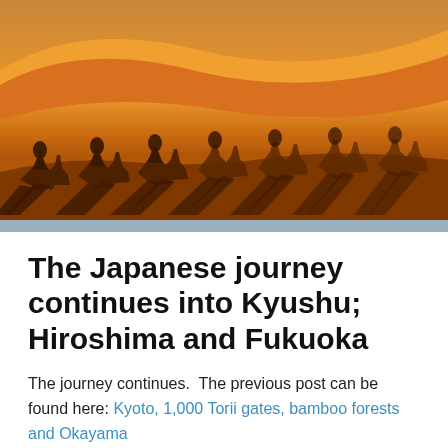[Figure (photo): Wide desert landscape with orange sand dunes. Shadows of camels and riders stretch dramatically across the sand in the foreground, with large dunes in the background under a hazy sky.]
The Japanese journey continues into Kyushu; Hiroshima and Fukuoka
The journey continues.  The previous post can be found here: Kyoto, 1,000 Torii gates, bamboo forests and Okayama